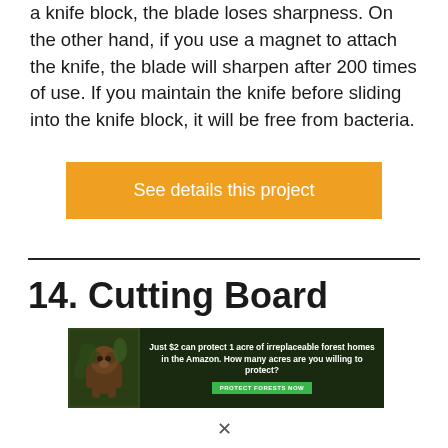a knife block, the blade loses sharpness. On the other hand, if you use a magnet to attach the knife, the blade will sharpen after 200 times of use. If you maintain the knife before sliding into the knife block, it will be free from bacteria.
See details this project
14. Cutting Board
[Figure (photo): Advertisement banner for Amazon forest protection showing an animal (likely an orangutan) in a tropical forest background. Text reads: Just $2 can protect 1 acre of irreplaceable forest homes in the Amazon. How many acres are you willing to protect? With a green button: PROTECT FORESTS NOW]